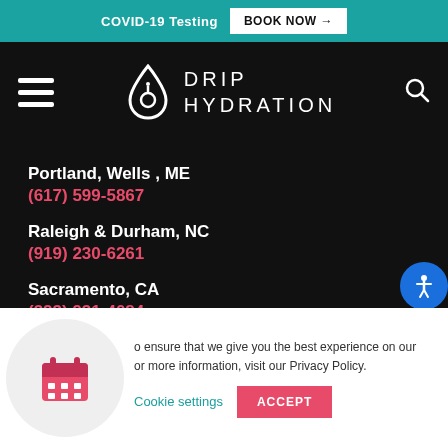COVID-19 Testing  BOOK NOW →
[Figure (logo): Drip Hydration logo with hamburger menu icon, water drop logo mark, DRIP HYDRATION text, and search icon on black navigation bar]
Portland, Wells , ME
(617) 599-5867
Raleigh & Durham, NC
(919) 230-6261
Sacramento, CA
(323) 931-4084
o ensure that we give you the best experience on our or more information, visit our Privacy Policy.
Cookie settings   ACCEPT